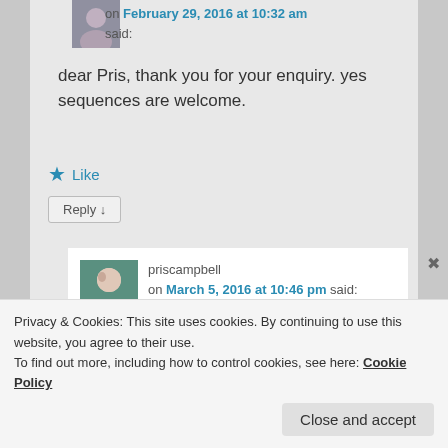on February 29, 2016 at 10:32 am said:
dear Pris, thank you for your enquiry. yes sequences are welcome.
Like
Reply ↓
[Figure (photo): Profile photo of priscampbell]
priscampbell on March 5, 2016 at 10:46 pm said:
Privacy & Cookies: This site uses cookies. By continuing to use this website, you agree to their use.
To find out more, including how to control cookies, see here: Cookie Policy
Close and accept